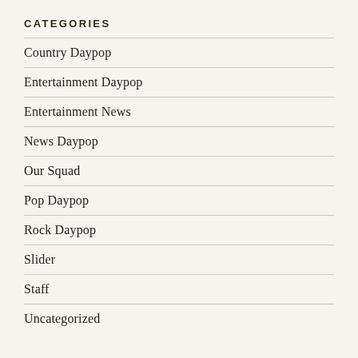CATEGORIES
Country Daypop
Entertainment Daypop
Entertainment News
News Daypop
Our Squad
Pop Daypop
Rock Daypop
Slider
Staff
Uncategorized